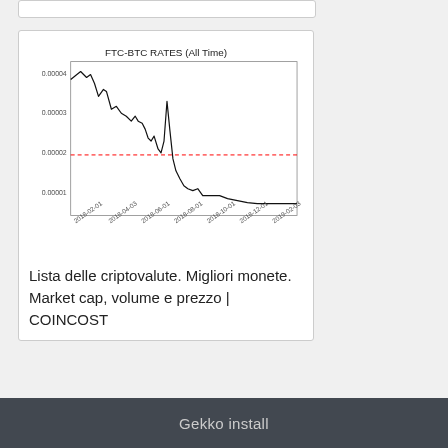[Figure (continuous-plot): Line chart showing FTC-BTC exchange rate over all time from 2018-02 to 2019-02. The rate starts high around 0.00004, drops sharply, fluctuates, then trends downward to near 0.00001. A horizontal dashed red line is drawn at approximately 0.00002.]
Lista delle criptovalute. Migliori monete. Market cap, volume e prezzo | COINCOST
Gekko install